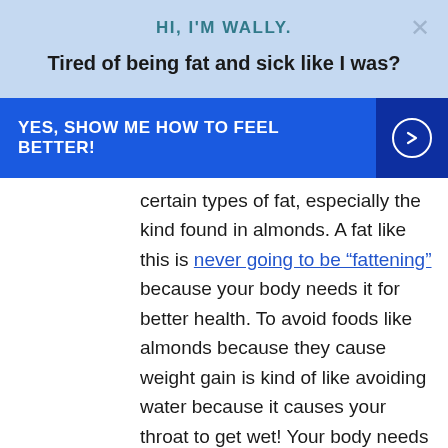HI, I'M WALLY.
Tired of being fat and sick like I was?
YES, SHOW ME HOW TO FEEL BETTER!
certain types of fat, especially the kind found in almonds. A fat like this is never going to be “fattening” because your body needs it for better health. To avoid foods like almonds because they cause weight gain is kind of like avoiding water because it causes your throat to get wet! Your body needs fat to live, but you need to make sure it is